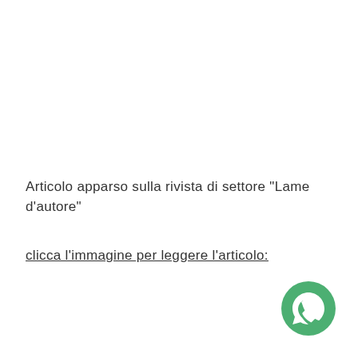Articolo apparso sulla rivista di settore "Lame d'autore"
clicca l'immagine per leggere l'articolo:
[Figure (logo): WhatsApp green circular logo icon in bottom-right corner]